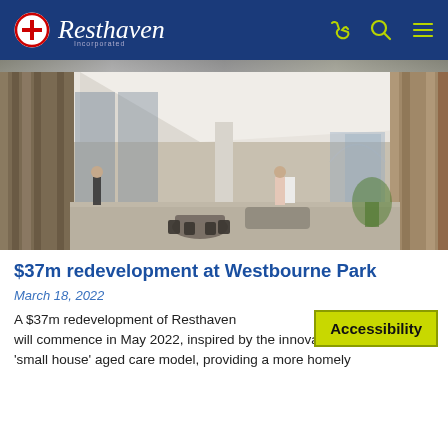Resthaven — navigation bar with logo, phone, search, and menu icons
[Figure (photo): Architectural rendering of a modern aged care facility interior showing a large bright communal space with timber wall panels, arched windows, seating areas, and several people walking and socializing.]
$37m redevelopment at Westbourne Park
March 18, 2022
A $37m redevelopment of Resthaven Westbourne Park will commence in May 2022, inspired by the innovative 'small house' aged care model, providing a more homely